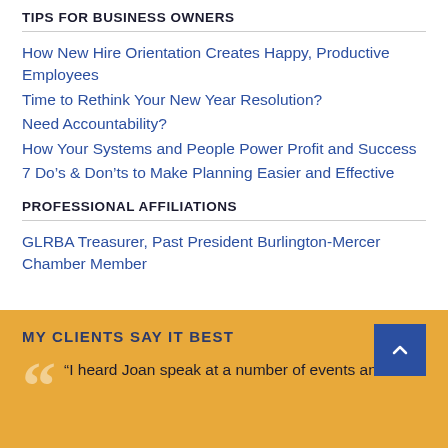TIPS FOR BUSINESS OWNERS
How New Hire Orientation Creates Happy, Productive Employees
Time to Rethink Your New Year Resolution?
Need Accountability?
How Your Systems and People Power Profit and Success
7 Do’s & Don’ts to Make Planning Easier and Effective
PROFESSIONAL AFFILIATIONS
GLRBA Treasurer, Past President Burlington-Mercer Chamber Member
MY CLIENTS SAY IT BEST
“I heard Joan speak at a number of events and it